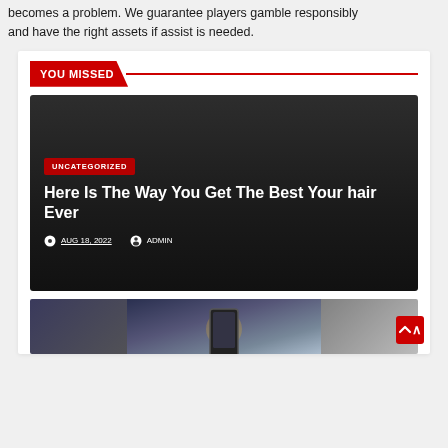becomes a problem. We guarantee players gamble responsibly and have the right assets if assist is needed.
YOU MISSED
[Figure (screenshot): Dark card with UNCATEGORIZED badge, article title 'Here Is The Way You Get The Best Your hair Ever', date AUG 18, 2022 and author ADMIN]
Here Is The Way You Get The Best Your hair Ever
AUG 18, 2022   ADMIN
[Figure (photo): Partial image of smartphones against a dark dramatic background with bokeh lighting]